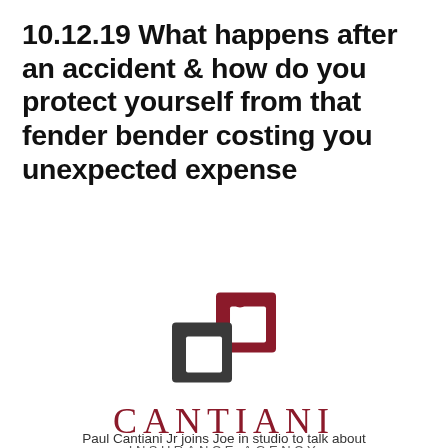10.12.19 What happens after an accident & how do you protect yourself from that fender bender costing you unexpected expense
[Figure (logo): Cantiani Insurance Agency logo: interlocking square bracket shapes in dark gray and dark red/maroon, with a small red circle at top center]
Paul Cantiani Jr joins Joe in studio to talk about